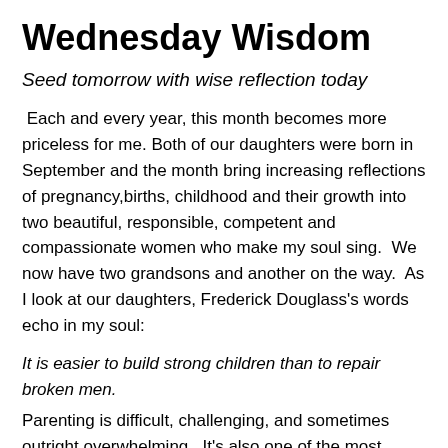Wednesday Wisdom
Seed tomorrow with wise reflection today
Each and every year, this month becomes more priceless for me. Both of our daughters were born in September and the month bring increasing reflections of pregnancy,births, childhood and their growth into two beautiful, responsible, competent and compassionate women who make my soul sing.  We now have two grandsons and another on the way.  As I look at our daughters, Frederick Douglass's words echo in my soul:
It is easier to build strong children than to repair broken men.
Parenting is difficult, challenging, and sometimes outright overwhelming.  It's also one of the most rewarding,